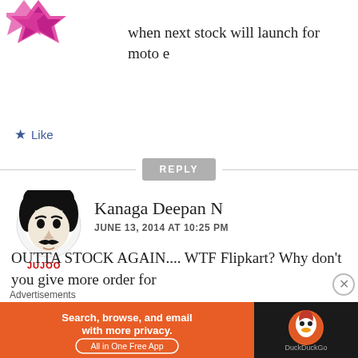[Figure (logo): Partial pink/magenta star-shaped logo at top left, cropped]
when next stock will launch for moto e
★ Like
REPLY
[Figure (illustration): Black and white cartoon avatar of a man with mustache, with JUJOO text in red]
Kanaga Deepan N
JUNE 13, 2014 AT 10:25 PM
OUTTA STOCK AGAIN.... WTF Flipkart? Why don't you give more order for
Advertisements
[Figure (infographic): DuckDuckGo advertisement banner: orange background with text 'Search, browse, and email with more privacy. All in One Free App' and DuckDuckGo logo on dark background]